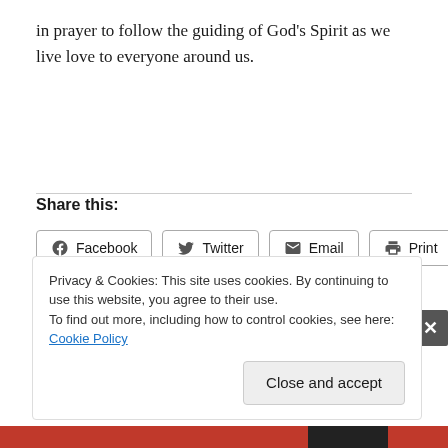in prayer to follow the guiding of God's Spirit as we live love to everyone around us.
Share this:
Facebook  Twitter  Email  Print
Privacy & Cookies: This site uses cookies. By continuing to use this website, you agree to their use.
To find out more, including how to control cookies, see here: Cookie Policy
Close and accept